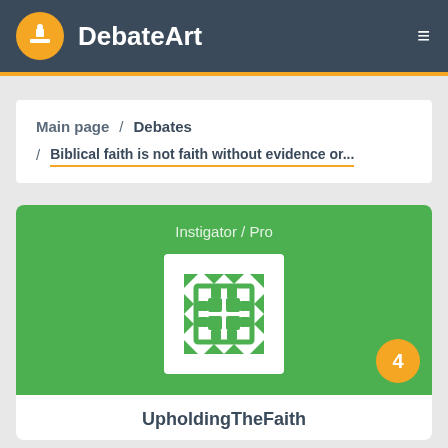DebateArt
Main page / Debates
Biblical faith is not faith without evidence or...
Instigator / Pro
[Figure (logo): DebateArt user avatar with white geometric/grid icon on green background]
4
UpholdingTheFaith